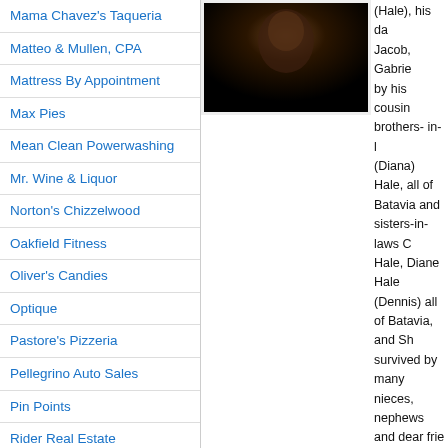Mama Chavez's Taqueria
Matteo & Mullen, CPA
Mattress By Appointment
Max Pies
Mean Clean Powerwashing
Mr. Wine & Liquor
Norton's Chizzelwood
Oakfield Fitness
Oliver's Candies
Optique
Pastore's Pizzeria
Pellegrino Auto Sales
Pin Points
Rider Real Estate
Rochester Regional Health – UMMC
Roman's
Sallome Heating & Cooling
[Figure (photo): Black and white portrait photo, mostly dark]
(Hale), his da Jacob, Gabrie by his cousin brothers- in- (Diana) Hale, all of Batavia and sisters-in-laws C Hale, Diane Hale (Dennis) all of Batavia, and Sh survived by many nieces, nephews and dear frie
Jeff was a veteran of the US Army, having served Germany where his duties were that of a patro and Godfreys Pond. He was once an avid outdo and archery but his true passion and love was h his Harley Davidson Heritage Soft Tail Motorcy previously worked at BAE Systems in New Ham
When Jeff talked of yesteryears past, he could m antics could bring a person to tears by laughing one of a kind and will be greatly missed by all of
I wish to extend a very special "Thank You" to m Strong, Highland and the Veterans Hospitals for companionship, guidance and prayers she so ge sister Diane and Dennis for all their concern, su allowed me to be at home with Jeff and to my si continuous prayers, rosaries, support and comp
To our good friends and neighbors, John and Ta "Thank You" for all that you have done for us si